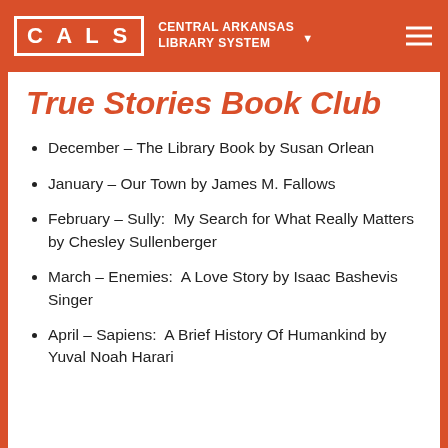CALS — CENTRAL ARKANSAS LIBRARY SYSTEM
True Stories Book Club
December – The Library Book by Susan Orlean
January – Our Town by James M. Fallows
February – Sully:  My Search for What Really Matters by Chesley Sullenberger
March – Enemies:  A Love Story by Isaac Bashevis Singer
April – Sapiens:  A Brief History Of Humankind by Yuval Noah Harari